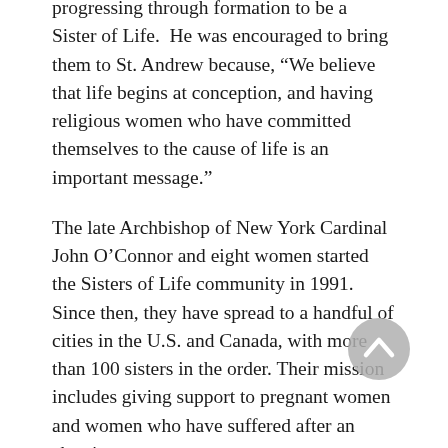progressing through formation to be a Sister of Life. He was encouraged to bring them to St. Andrew because, “We believe that life begins at conception, and having religious women who have committed themselves to the cause of life is an important message.”
The late Archbishop of New York Cardinal John O’Connor and eight women started the Sisters of Life community in 1991. Since then, they have spread to a handful of cities in the U.S. and Canada, with more than 100 sisters in the order. Their mission includes giving support to pregnant women and women who have suffered after an abortion.
Olga Watson, Director of Campus Ministry at Nolan, said the sisters had lunch with students and played dodgeball with them. “It’s important that students can get to know religious and see they are real people.”
The sisters told students about their order and their journeys that led them to a religious vocation.
At the first evening talk at St. Andrew Parish, Sister Mary Grace, SV, spoke on how to trust God in real life. That requires rest, she said, and understanding that God is in control.